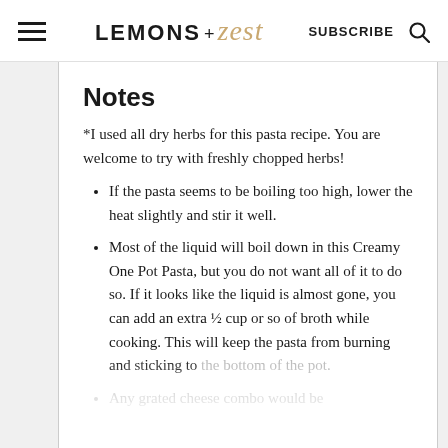LEMONS + zest   SUBSCRIBE
Notes
*I used all dry herbs for this pasta recipe. You are welcome to try with freshly chopped herbs!
If the pasta seems to be boiling too high, lower the heat slightly and stir it well.
Most of the liquid will boil down in this Creamy One Pot Pasta, but you do not want all of it to do so. If it looks like the liquid is almost gone, you can add an extra ½ cup or so of broth while cooking. This will keep the pasta from burning and sticking to the bottom of the pot.
Any grated cheese combo would be